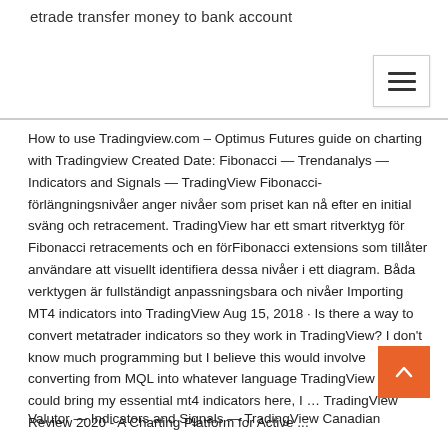etrade transfer money to bank account
How to use Tradingview.com – Optimus Futures guide on charting with Tradingview Created Date: Fibonacci — Trendanalys — Indicators and Signals — TradingView Fibonacci-förlängningsnivåer anger nivåer som priset kan nå efter en initial sväng och retracement. TradingView har ett smart ritverktyg för Fibonacci retracements och en förFibonacci extensions som tillåter användare att visuellt identifiera dessa nivåer i ett diagram. Båda verktygen är fullständigt anpassningsbara och nivåer Importing MT4 indicators into TradingView Aug 15, 2018 · Is there a way to convert metatrader indicators so they work in TradingView? I don't know much programming but I believe this would involve converting from MQL into whatever language TradingView uses. If I could bring my essential mt4 indicators here, I … TradingView Review 2020 - A Charting Platform for Active ...
Valutor — Indicators and Signals — TradingView Canadian